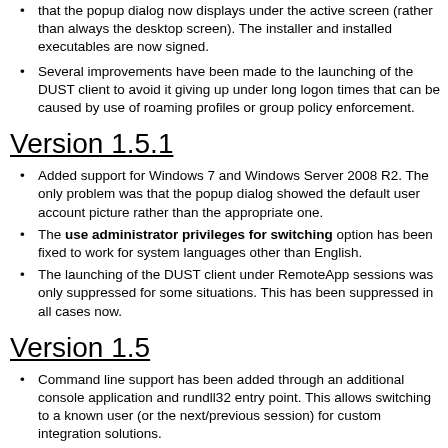that the popup dialog now displays under the active screen (rather than always the desktop screen). The installer and installed executables are now signed.
Several improvements have been made to the launching of the DUST client to avoid it giving up under long logon times that can be caused by use of roaming profiles or group policy enforcement.
Version 1.5.1
Added support for Windows 7 and Windows Server 2008 R2. The only problem was that the popup dialog showed the default user account picture rather than the appropriate one.
The use administrator privileges for switching option has been fixed to work for system languages other than English.
The launching of the DUST client under RemoteApp sessions was only suppressed for some situations. This has been suppressed in all cases now.
Version 1.5
Command line support has been added through an additional console application and rundll32 entry point. This allows switching to a known user (or the next/previous session) for custom integration solutions.
Version 1.4
Windows Server 2008 is now supported with the result that the new, but incompatible, Remote Application sessions are excluded. Also a registry only option has been added that allows switching to